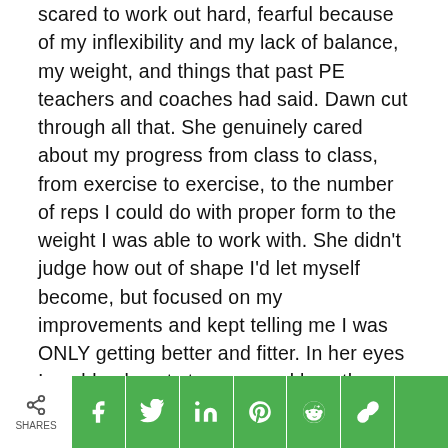scared to work out hard, fearful because of my inflexibility and my lack of balance, my weight, and things that past PE teachers and coaches had said. Dawn cut through all that. She genuinely cared about my progress from class to class, from exercise to exercise, to the number of reps I could do with proper form to the weight I was able to work with. She didn't judge how out of shape I'd let myself become, but focused on my improvements and kept telling me I was ONLY getting better and fitter. In her eyes I could only get stronger, and lose the weight and it happened under her coaching. Most importantly, it happened in the right way, not through some fad or risky trend. Though I've moved out of state and can no longer train with her, she is the new voice in my head, sort of like a ripped angel
SHARES [share buttons: facebook, twitter, linkedin, pinterest, reddit, link, plus]